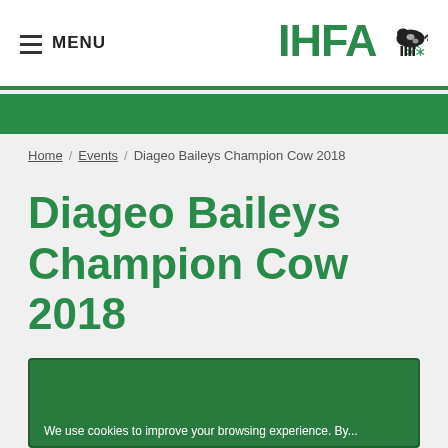MENU | IHFA logo
Home / Events / Diageo Baileys Champion Cow 2018
Diageo Baileys Champion Cow 2018
Drumlina Atwood Megan reigns Supreme at the
We use cookies to improve your browsing experience. By...